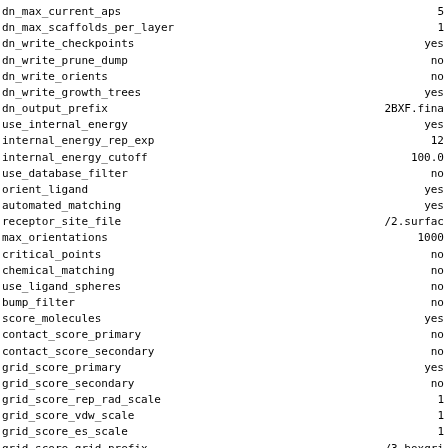| Parameter | Value |
| --- | --- |
| dn_max_current_aps | 5 |
| dn_max_scaffolds_per_layer | 1 |
| dn_write_checkpoints | yes |
| dn_write_prune_dump | no |
| dn_write_orients | no |
| dn_write_growth_trees | yes |
| dn_output_prefix | 2BXF.fina |
| use_internal_energy | yes |
| internal_energy_rep_exp | 12 |
| internal_energy_cutoff | 100.0 |
| use_database_filter | no |
| orient_ligand | yes |
| automated_matching | yes |
| receptor_site_file | /2.surfac |
| max_orientations | 1000 |
| critical_points | no |
| chemical_matching | no |
| use_ligand_spheres | no |
| bump_filter | no |
| score_molecules | yes |
| contact_score_primary | no |
| contact_score_secondary | no |
| grid_score_primary | yes |
| grid_score_secondary | no |
| grid_score_rep_rad_scale | 1 |
| grid_score_vdw_scale | 1 |
| grid_score_es_scale | 1 |
| grid_score_grid_prefix | /3.boxgri |
| multigrid_score_secondary | no |
| dock3.5_score_secondary | no |
| continuous_score_secondary | no |
| footprint_similarity_score_secondary | no |
| pharmacophore_score_secondary | no |
| descriptor_score_secondary | no |
| gbsa_zou_score_secondary | no |
| gbsa_hawkins_score_secondary | no |
| SASA_score_secondary | no |